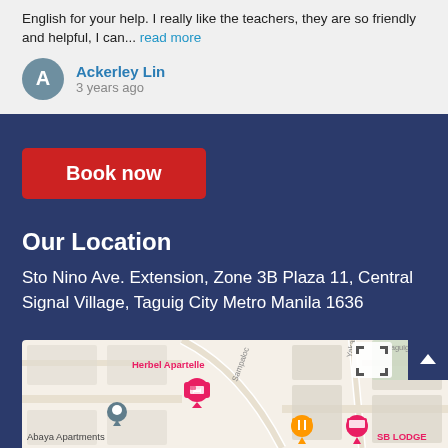English for your help. I really like the teachers, they are so friendly and helpful, I can... read more
Ackerley Lin
3 years ago
Book now
Our Location
Sto Nino Ave. Extension, Zone 3B Plaza 11, Central Signal Village, Taguig City Metro Manila 1636
[Figure (map): Google Maps showing Herbel Apartelle, Abaya Apartments, SB Lodge near Sampaloc street, Taguig area]